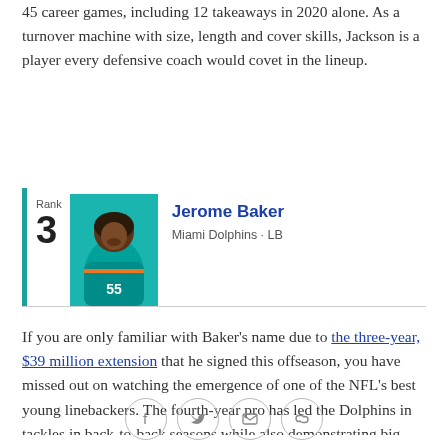45 career games, including 12 takeaways in 2020 alone. As a turnover machine with size, length and cover skills, Jackson is a player every defensive coach would covet in the lineup.
Rank 3 | Jerome Baker | Miami Dolphins · LB
If you are only familiar with Baker's name due to the three-year, $39 million extension that he signed this offseason, you have missed out on watching the emergence of one of the NFL's best young linebackers. The fourth-year pro has led the Dolphins in tackles in back-to-back seasons while also demonstrating big-play ability as a second-level pass rusher (seven sacks in 2020). If Miami is going to take the next step as a